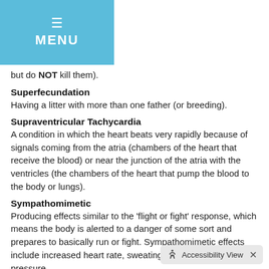[Figure (other): Blue menu button with hamburger icon and MENU label]
but do NOT kill them).
Superfecundation
Having a litter with more than one father (or breeding).
Supraventricular Tachycardia
A condition in which the heart beats very rapidly because of signals coming from the atria (chambers of the heart that receive the blood) or near the junction of the atria with the ventricles (the chambers of the heart that pump the blood to the body or lungs).
Sympathomimetic
Producing effects similar to the 'flight or fight' response, which means the body is alerted to a danger of some sort and prepares to basically run or fight. Sympathomimetic effects include increased heart rate, sweating, and increased blood pressure.
Syncope
The temporary loss of consciousness; fainting.
Synergist
An agent that enhances th